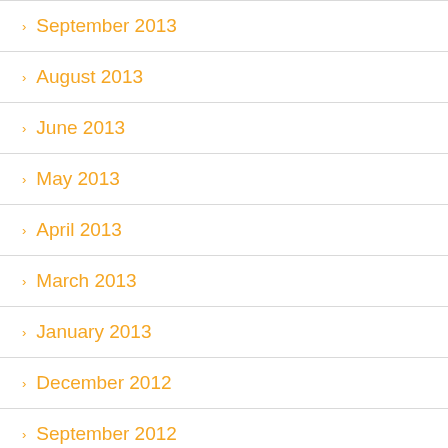September 2013
August 2013
June 2013
May 2013
April 2013
March 2013
January 2013
December 2012
September 2012